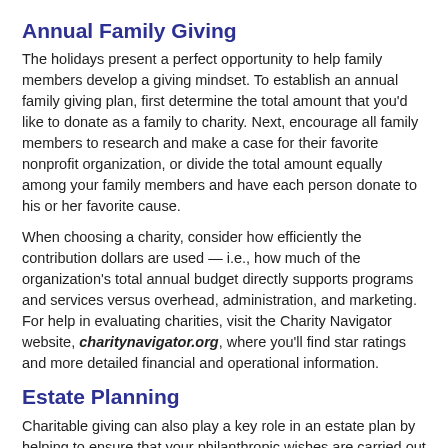Annual Family Giving
The holidays present a perfect opportunity to help family members develop a giving mindset. To establish an annual family giving plan, first determine the total amount that you'd like to donate as a family to charity. Next, encourage all family members to research and make a case for their favorite nonprofit organization, or divide the total amount equally among your family members and have each person donate to his or her favorite cause.
When choosing a charity, consider how efficiently the contribution dollars are used — i.e., how much of the organization's total annual budget directly supports programs and services versus overhead, administration, and marketing. For help in evaluating charities, visit the Charity Navigator website, charitynavigator.org, where you'll find star ratings and more detailed financial and operational information.
Estate Planning
Charitable giving can also play a key role in an estate plan by helping to ensure that your philanthropic wishes are carried out and potentially reducing your estate tax burden.
The federal government taxes wealth transfers both during your lifetime and at death. In 2021, the federal gift and estate tax is imposed on lifetime transfers exceeding $11,700,000, at a top rate